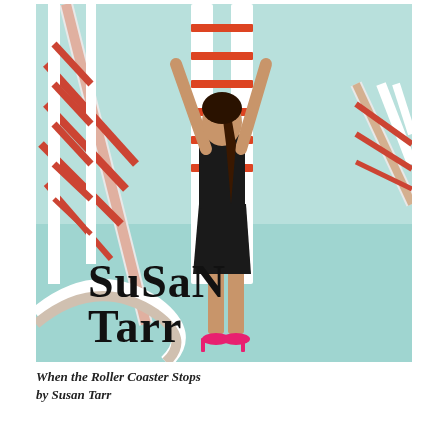[Figure (photo): Book cover showing a woman in a black dress and bright pink high heels climbing a roller coaster structure. She is viewed from behind with arms raised, set against a light teal/mint sky. Red and white roller coaster track structures surround her. The author name 'Susan Tarr' is displayed in large black decorative text in the lower portion of the image.]
When the Roller Coaster Stops
by Susan Tarr